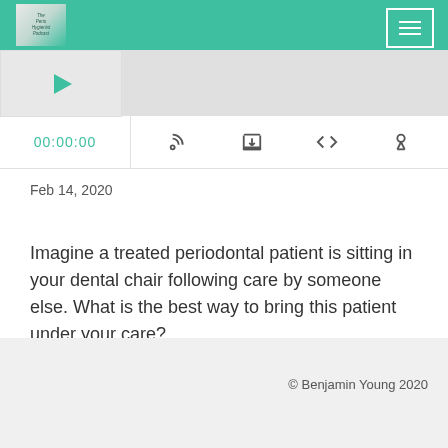[Figure (screenshot): Podcast player header with teal/green background, logo top-left, hamburger menu top-right]
[Figure (screenshot): Audio player with waveform, timestamp 00:00:00, and control icons (RSS, download, embed, share)]
Feb 14, 2020
Imagine a treated periodontal patient is sitting in your dental chair following care by someone else. What is the best way to bring this patient under your care?
© Benjamin Young 2020